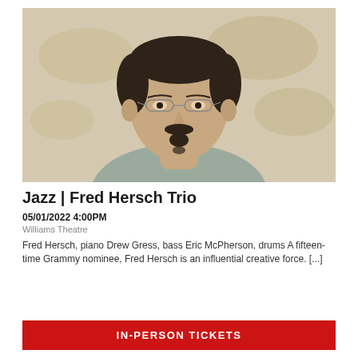[Figure (photo): Headshot of Fred Hersch, a man with dark hair, glasses, goatee, wearing a grey shirt, posed against a muted gold/beige world map background.]
Jazz | Fred Hersch Trio
05/01/2022 4:00PM
Williams Theatre
Fred Hersch, piano Drew Gress, bass Eric McPherson, drums A fifteen-time Grammy nominee, Fred Hersch is an influential creative force. [...]
IN-PERSON TICKETS